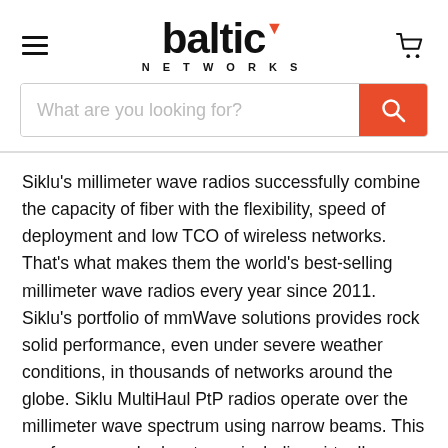baltic NETWORKS
Siklu's millimeter wave radios successfully combine the capacity of fiber with the flexibility, speed of deployment and low TCO of wireless networks. That's what makes them the world's best-selling millimeter wave radios every year since 2011. Siklu's portfolio of mmWave solutions provides rock solid performance, even under severe weather conditions, in thousands of networks around the globe. Siklu MultiHaul PtP radios operate over the millimeter wave spectrum using narrow beams. This confers several advantages including virtually zero interference and immunity from network jamming. In contrast to wide-beam wireless systems that need to use multiple strategies to perform in dense areas, and are not successful 100% of the time, Siklu MultiHaul PtP radios that take advantage of narrow beams are